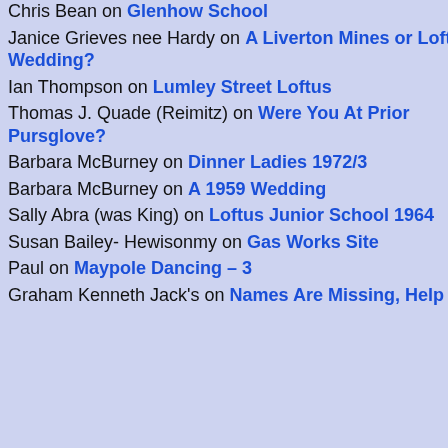Chris Bean on Glenhow School
Janice Grieves nee Hardy on A Liverton Mines or Loftus Wedding?
Ian Thompson on Lumley Street Loftus
Thomas J. Quade (Reimitz) on Were You At Prior Pursglove?
Barbara McBurney on Dinner Ladies 1972/3
Barbara McBurney on A 1959 Wedding
Sally Abra (was King) on Loftus Junior School 1964
Susan Bailey- Hewisonmy on Gas Works Site
Paul on Maypole Dancing – 3
Graham Kenneth Jack's on Names Are Missing, Help